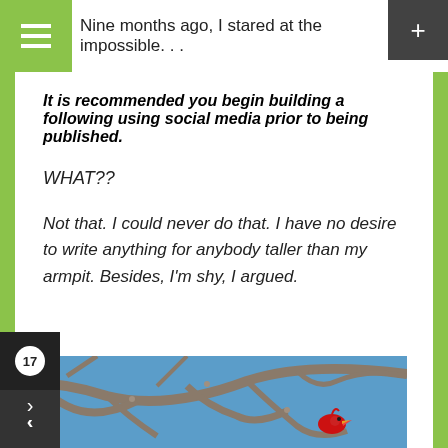Nine months ago, I stared at the impossible. . .
It is recommended you begin building a following using social media prior to being published.
WHAT??
Not that. I could never do that. I have no desire to write anything for anybody taller than my armpit. Besides, I'm shy, I argued.
[Figure (photo): A red cardinal bird perched among bare tree branches against a blue sky]